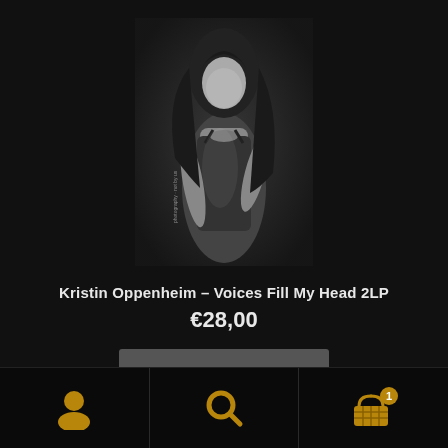[Figure (photo): Black and white photograph of a woman with long dark hair, wearing a dark tank top/bodysuit, posing against a dark background. Small text visible in lower left area.]
Kristin Oppenheim – Voices Fill My Head 2LP
€28,00
Add to cart